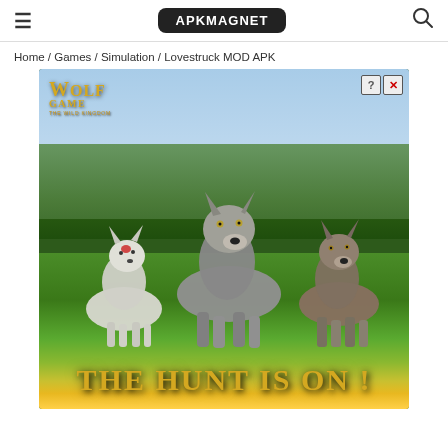≡  APKMAGNET  🔍
Home / Games / Simulation / Lovestruck MOD APK
[Figure (photo): Advertisement for Wolf Game: The Wild Kingdom. Shows three wolves (one white with red marking, one large grey wolf center, one brown wolf right) running through a field of yellow flowers with forest background. Gold text reads 'THE HUNT IS ON !' at the bottom. Gold logo 'WOLF GAME THE WILD KINGDOM' in top left. Ad controls (? and X) in top right corner.]